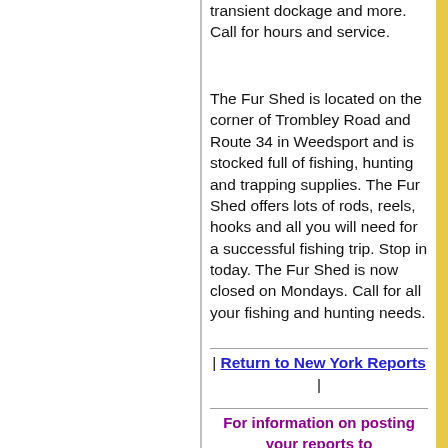transient dockage and more. Call for hours and service.
The Fur Shed is located on the corner of Trombley Road and Route 34 in Weedsport and is stocked full of fishing, hunting and trapping supplies. The Fur Shed offers lots of rods, reels, hooks and all you will need for a successful fishing trip. Stop in today. The Fur Shed is now closed on Mondays. Call for all your fishing and hunting needs.
| Return to New York Reports |
For information on posting your reports to Fish and Game™, contact: info@fishandgame.com